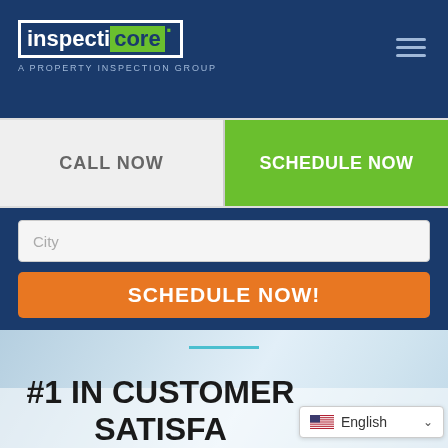[Figure (screenshot): InspectiCore logo — white bordered box with 'inspecti' in white text and 'core' in dark text on green background, subtitle 'A PROPERTY INSPECTION GROUP' in light blue]
CALL NOW
SCHEDULE NOW
City
SCHEDULE NOW!
#1 IN CUSTOMER SATISFA
English